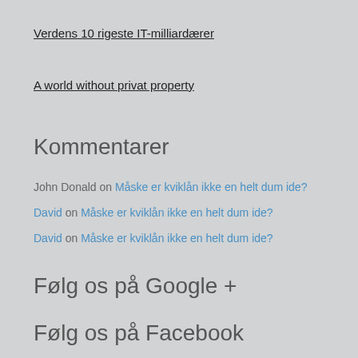Verdens 10 rigeste IT-milliardærer
A world without privat property
Kommentarer
John Donald on Måske er kviklån ikke en helt dum ide?
David on Måske er kviklån ikke en helt dum ide?
David on Måske er kviklån ikke en helt dum ide?
Følg os på Google +
Følg os på Facebook